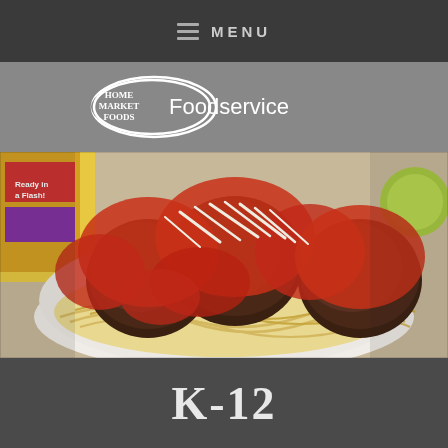≡ MENU
[Figure (logo): Home Market Foods Foodservice logo — oval with HOME MARKET FOODS text inside, followed by 'Foodservice' in white text]
[Figure (photo): A plate of spaghetti with large meatballs topped with red marinara sauce and shredded mozzarella cheese. A colorful box is visible in the background.]
K-12